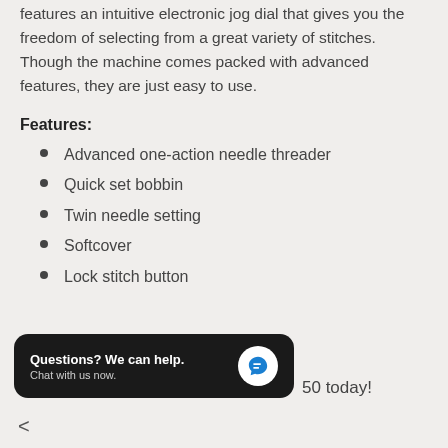sewing process a simple task. The Brother INNOViS A50 features an intuitive electronic jog dial that gives you the freedom of selecting from a great variety of stitches. Though the machine comes packed with advanced features, they are just easy to use.
Features:
Advanced one-action needle threader
Quick set bobbin
Twin needle setting
Softcover
Lock stitch button
Questions? We can help. Chat with us now.
50 today!
<